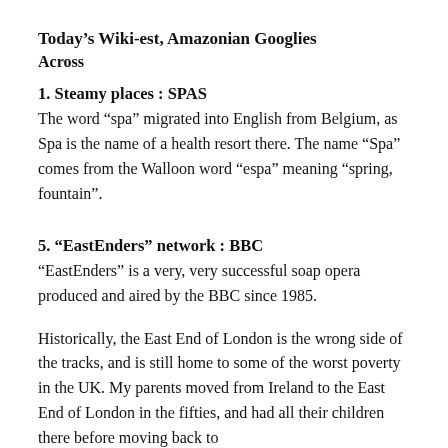Today’s Wiki-est, Amazonian Googlies
Across
1. Steamy places : SPAS
The word “spa” migrated into English from Belgium, as Spa is the name of a health resort there. The name “Spa” comes from the Walloon word “espa” meaning “spring, fountain”.
5. “EastEnders” network : BBC
“EastEnders” is a very, very successful soap opera produced and aired by the BBC since 1985.
Historically, the East End of London is the wrong side of the tracks, and is still home to some of the worst poverty in the UK. My parents moved from Ireland to the East End of London in the fifties, and had all their children there before moving back to